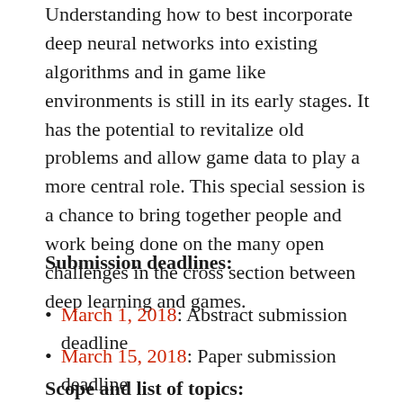Understanding how to best incorporate deep neural networks into existing algorithms and in game like environments is still in its early stages. It has the potential to revitalize old problems and allow game data to play a more central role. This special session is a chance to bring together people and work being done on the many open challenges in the cross section between deep learning and games.
Submission deadlines:
March 1, 2018: Abstract submission deadline
March 15, 2018: Paper submission deadline
Scope and list of topics: